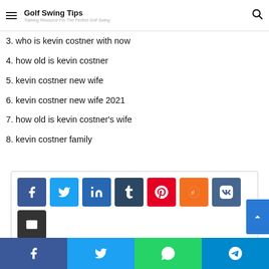Golf Swing Tips — Training Resource For The Perfect Golf Swing
3. who is kevin costner with now
4. how old is kevin costner
5. kevin costner new wife
6. kevin costner new wife 2021
7. how old is kevin costner's wife
8. kevin costner family
[Figure (screenshot): Social share buttons: Facebook, Twitter, LinkedIn, Tumblr, Pinterest, Reddit, VK, Email, Print]
Bottom social bar with Facebook, Twitter, WhatsApp, Telegram icons